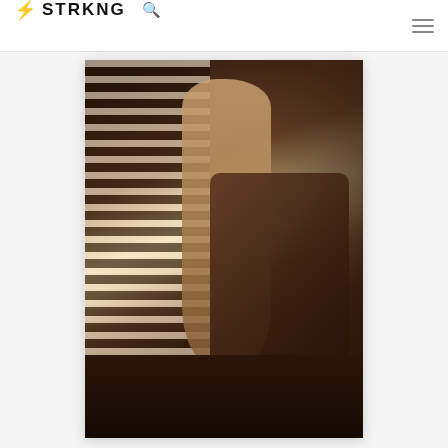⚡ STRKNG 🔍
[Figure (photo): Fine art photograph of a nude figure with long braided hair, viewed from behind, kneeling on an ornate antique chair near a window with venetian blinds. Light streams through the blinds creating dramatic striped light patterns. Dark, moody, Baroque-style interior setting with rich dark wood furniture. Low-key dramatic lighting reminiscent of Old Masters painting style.]